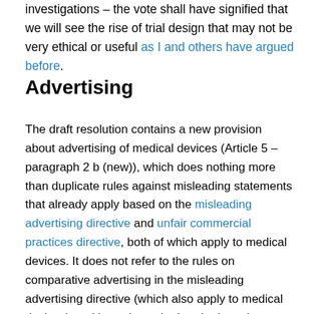investigations – the vote shall have signified that we will see the rise of trial design that may not be very ethical or useful as I and others have argued before.
Advertising
The draft resolution contains a new provision about advertising of medical devices (Article 5 – paragraph 2 b (new)), which does nothing more than duplicate rules against misleading statements that already apply based on the misleading advertising directive and unfair commercial practices directive, both of which apply to medical devices. It does not refer to the rules on comparative advertising in the misleading advertising directive (which also apply to medical devices), so it's unclear whether the intention now is to exclude applicability of comparative advertising claims about...